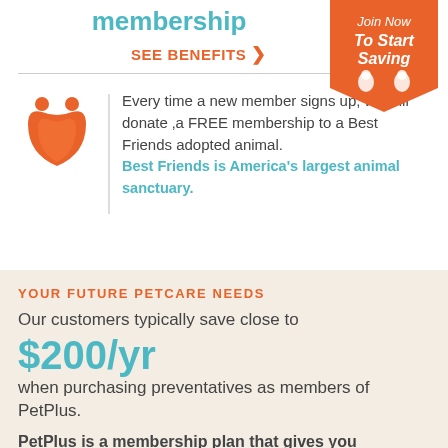membership
SEE BENEFITS >
[Figure (infographic): Orange pentagon/badge shape with text 'Join Now To Start Saving' and pet silhouette icons]
[Figure (illustration): Orange stylized paws/pet icon]
Every time a new member signs up, we will donate ‚a FREE membership to a Best Friends adopted animal. Best Friends is America's largest animal sanctuary.
YOUR FUTURE PETCARE NEEDS
Our customers typically save close to $200/yr when purchasing preventatives as members of PetPlus.
PetPlus is a membership plan that gives you wholesale pricing on preventatives, supplements and speciality foods